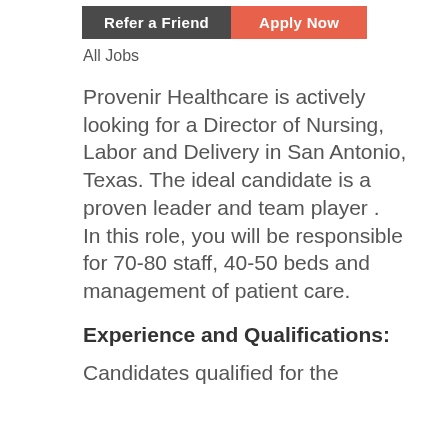[Figure (other): Two buttons side by side: 'Refer a Friend' (dark gray background) and 'Apply Now' (orange/salmon background)]
All Jobs
Provenir Healthcare is actively looking for a Director of Nursing, Labor and Delivery in San Antonio, Texas. The ideal candidate is a proven leader and team player . In this role, you will be responsible for 70-80 staff, 40-50 beds and management of patient care.
Experience and Qualifications:
Candidates qualified for the